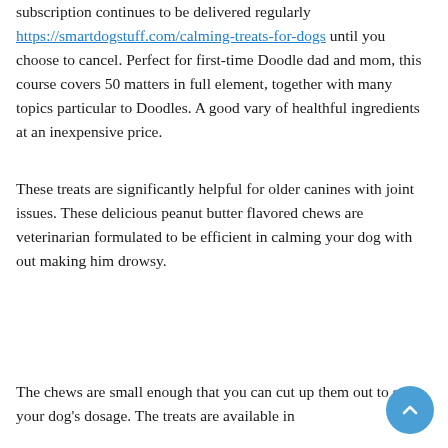subscription continues to be delivered regularly https://smartdogstuff.com/calming-treats-for-dogs until you choose to cancel. Perfect for first-time Doodle dad and mom, this course covers 50 matters in full element, together with many topics particular to Doodles. A good vary of healthful ingredients at an inexpensive price.
These treats are significantly helpful for older canines with joint issues. These delicious peanut butter flavored chews are veterinarian formulated to be efficient in calming your dog with out making him drowsy.
The chews are small enough that you can cut up them out to suit your dog's dosage. The treats are available in